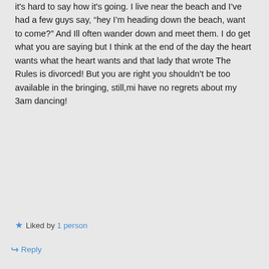it's hard to say how it's going. I live near the beach and I've had a few guys say, “hey I'm heading down the beach, want to come?” And Ill often wander down and meet them. I do get what you are saying but I think at the end of the day the heart wants what the heart wants and that lady that wrote The Rules is divorced! But you are right you shouldn't be too available in the bringing, still,mi have no regrets about my 3am dancing!
Liked by 1 person
Reply